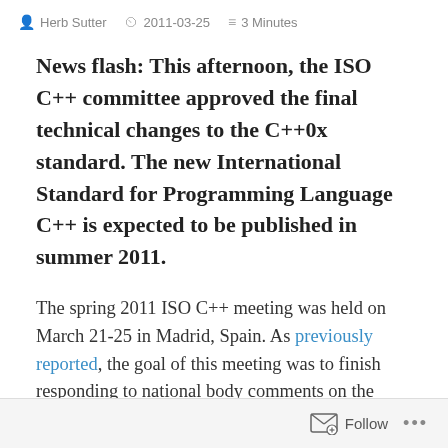Herb Sutter  2011-03-25  3 Minutes
News flash: This afternoon, the ISO C++ committee approved the final technical changes to the C++0x standard. The new International Standard for Programming Language C++ is expected to be published in summer 2011.
The spring 2011 ISO C++ meeting was held on March 21-25 in Madrid, Spain. As previously reported, the goal of this meeting was to finish responding to national body comments on the
Follow ...